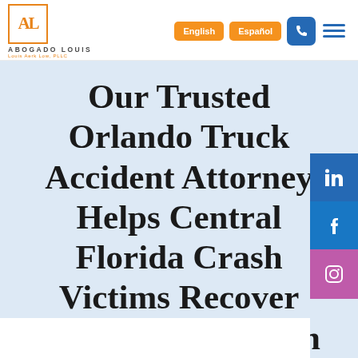[Figure (logo): Abogado Louis law firm logo with orange AL letters in a square box, firm name 'ABOGADO LOUIS' and 'Louis Aerk Low, PLLC' below]
Our Trusted Orlando Truck Accident Attorney Helps Central Florida Crash Victims Recover Fair Compensation